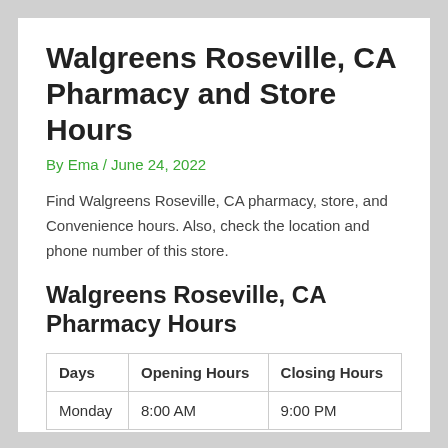Walgreens Roseville, CA Pharmacy and Store Hours
By Ema / June 24, 2022
Find Walgreens Roseville, CA pharmacy, store, and Convenience hours. Also, check the location and phone number of this store.
Walgreens Roseville, CA Pharmacy Hours
| Days | Opening Hours | Closing Hours |
| --- | --- | --- |
| Monday | 8:00 AM | 9:00 PM |